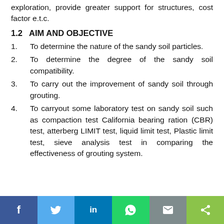exploration, provide greater support for structures, cost factor e.t.c.
1.2   AIM AND OBJECTIVE
1.      To determine the nature of the sandy soil particles.
2.      To determine the degree of the sandy soil compatibility.
3.      To carry out the improvement of sandy soil through grouting.
4.      To carryout some laboratory test on sandy soil such as compaction test California bearing ration (CBR) test, atterberg LIMIT test, liquid limit test, Plastic limit test, sieve analysis test in comparing the effectiveness of grouting system.
Share bar: Facebook | Twitter | LinkedIn | WhatsApp | Email | Share